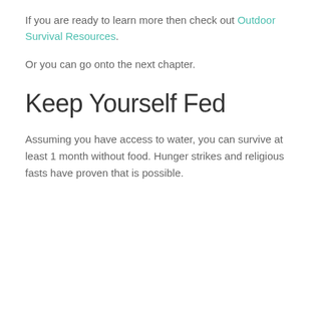If you are ready to learn more then check out Outdoor Survival Resources.
Or you can go onto the next chapter.
Keep Yourself Fed
Assuming you have access to water, you can survive at least 1 month without food. Hunger strikes and religious fasts have proven that is possible.